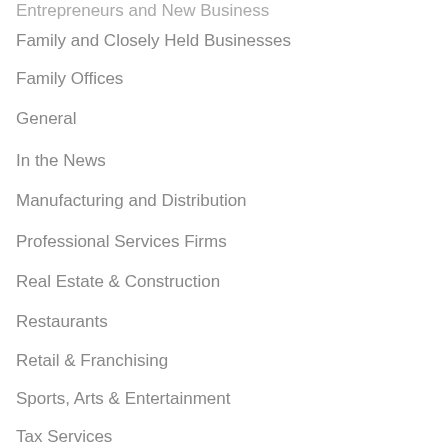Entrepreneurs and New Business
Family and Closely Held Businesses
Family Offices
General
In the News
Manufacturing and Distribution
Professional Services Firms
Real Estate & Construction
Restaurants
Retail & Franchising
Sports, Arts & Entertainment
Tax Services
Technology and Software development